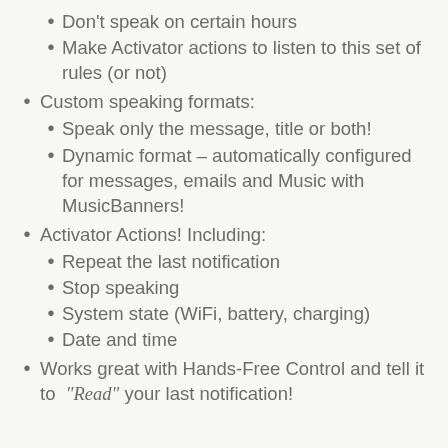Don't speak on certain hours
Make Activator actions to listen to this set of rules (or not)
Custom speaking formats:
Speak only the message, title or both!
Dynamic format – automatically configured for messages, emails and Music with MusicBanners!
Activator Actions! Including:
Repeat the last notification
Stop speaking
System state (WiFi, battery, charging)
Date and time
Works great with Hands-Free Control and tell it to “Read” your last notification!